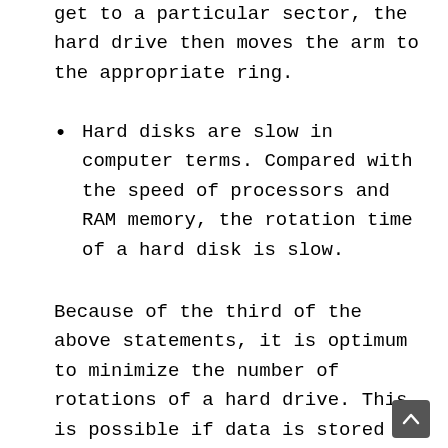get to a particular sector, the hard drive then moves the arm to the appropriate ring.
Hard disks are slow in computer terms. Compared with the speed of processors and RAM memory, the rotation time of a hard disk is slow.
Because of the third of the above statements, it is optimum to minimize the number of rotations of a hard drive. This is possible if data is stored in sequential segments on the disk. Consider th